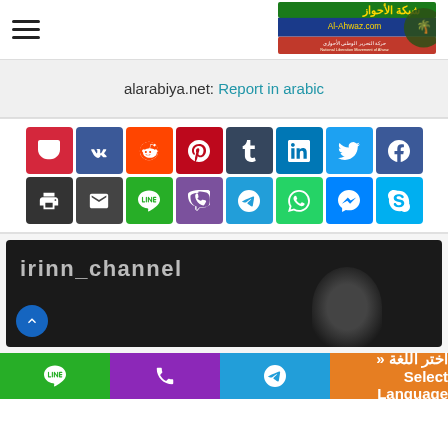Al-Ahwaz.com — شبكة الأحواز (logo and menu)
alarabiya.net: Report in arabic
[Figure (screenshot): Social media share buttons: Pocket, VK, Reddit, Pinterest, Tumblr, LinkedIn, Twitter, Facebook (top row); Print, Email, Line, Viber, Telegram, WhatsApp, Messenger, Skype (bottom row)]
[Figure (screenshot): Dark video thumbnail showing 'irinn_channel' text with a face partially visible]
Select Language « اختر اللغة